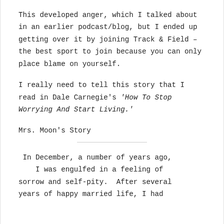This developed anger, which I talked about in an earlier podcast/blog, but I ended up getting over it by joining Track & Field – the best sport to join because you can only place blame on yourself.
I really need to tell this story that I read in Dale Carnegie's 'How To Stop Worrying And Start Living.'
Mrs. Moon's Story
In December, a number of years ago, I was engulfed in a feeling of sorrow and self-pity.  After several years of happy married life, I had